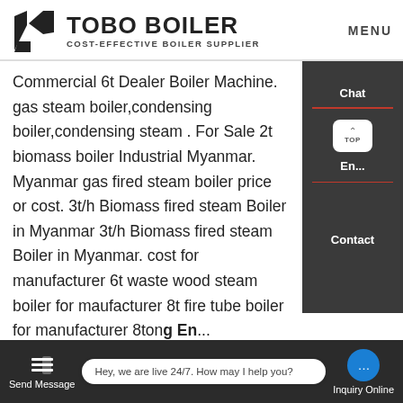[Figure (logo): Tobo Boiler logo with geometric icon, company name and tagline COST-EFFECTIVE BOILER SUPPLIER]
Commercial 6t Dealer Boiler Machine. gas steam boiler,condensing boiler,condensing steam . For Sale 2t biomass boiler Industrial Myanmar. Myanmar gas fired steam boiler price or cost. 3t/h Biomass fired steam Boiler in Myanmar 3t/h Biomass fired steam Boiler in Myanmar. cost for manufacturer 6t waste wood steam boiler for maufacturer 8t fire tube boiler for manufacturer 8tong En... steam boiler
[Figure (photo): Industrial boiler equipment photograph showing boiler pipes and machinery in gray/blue tones]